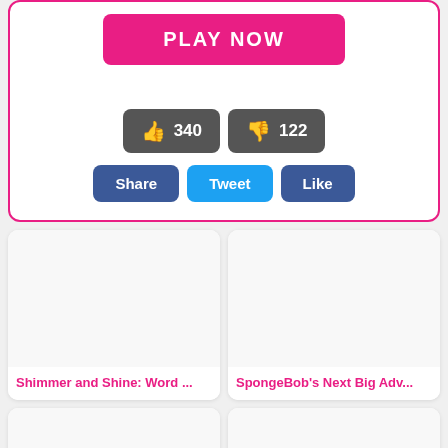[Figure (screenshot): Pink PLAY NOW button]
[Figure (screenshot): Vote buttons showing thumbs up 340 and thumbs down 122]
[Figure (screenshot): Social sharing buttons: Share, Tweet, Like]
Shimmer and Shine: Word ...
SpongeBob's Next Big Adv...